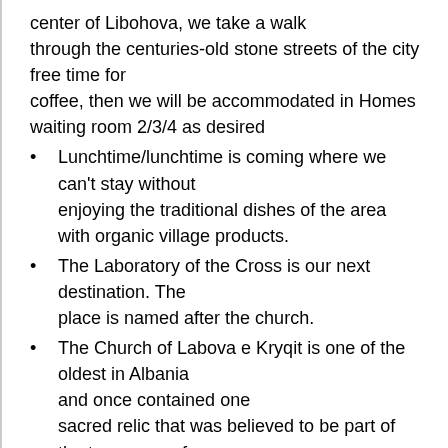center of Libohova, we take a walk through the centuries-old stone streets of the city free time for coffee, then we will be accommodated in Homes waiting room 2/3/4 as desired
Lunchtime/lunchtime is coming where we can't stay without enjoying the traditional dishes of the area with organic village products.
The Laboratory of the Cross is our next destination. The place is named after the church.
The Church of Labova e Kryqit is one of the oldest in Albania and once contained one sacred relic that was believed to be part of the true cross of Christ. The building is typical Byzantine with a high central dome built in the 13th century, but the original foundation may go deep into the time of Emperor Justinian in the years 527-565 e.j.